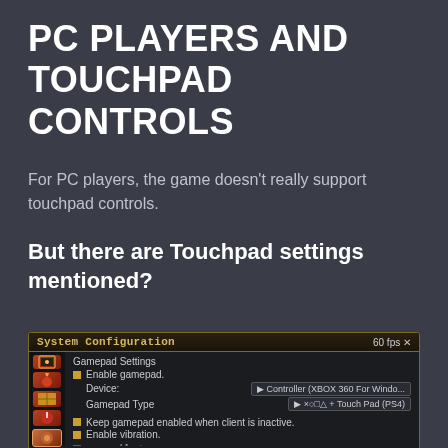PC PLAYERS AND TOUCHPAD CONTROLS
For PC players, the game doesn't really support touchpad controls.
But there are Touchpad settings mentioned?
[Figure (screenshot): Screenshot of a game System Configuration panel showing Gamepad Settings with options: Enable gamepad, Device: Controller (XBOX 360 For Windo...), Gamepad Type: ×○□△ + Touch Pad (PS4), Keep gamepad enabled when client is inactive, Enable vibration, Enable L1+auto-run, Enable window zoom via right-click, Enable text pasting with...]